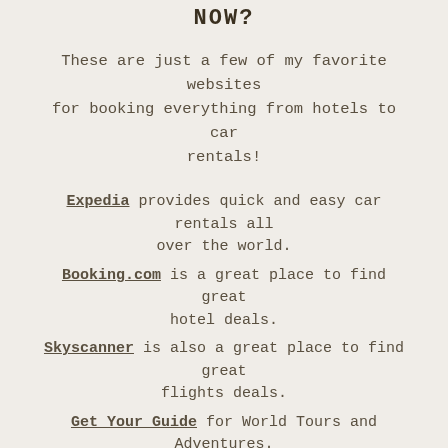NOW?
These are just a few of my favorite websites for booking everything from hotels to car rentals!
Expedia provides quick and easy car rentals all over the world.
Booking.com is a great place to find great hotel deals.
Skyscanner is also a great place to find great flights deals.
Get Your Guide for World Tours and Adventures.
Wise send and receive money from abroad at a low cost (great for travelers and freelancers).
VPN service – to use public networks without